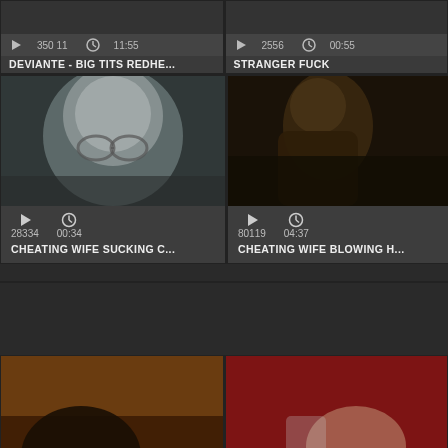[Figure (screenshot): Video thumbnail grid showing adult video titles. Top row partial cards: 'DEVIANTE - BIG TITS REDHE...' and 'STRANGER FUCK'. Middle row: 'CHEATING WIFE SUCKING C...' (28334 views, 00:34) and 'CHEATING WIFE BLOWING H...' (80119 views, 04:37). Bottom row: two more video thumbnails partially visible.]
DEVIANTE - BIG TITS REDHE...
STRANGER FUCK
28334  00:34
CHEATING WIFE SUCKING C...
80119  04:37
CHEATING WIFE BLOWING H...